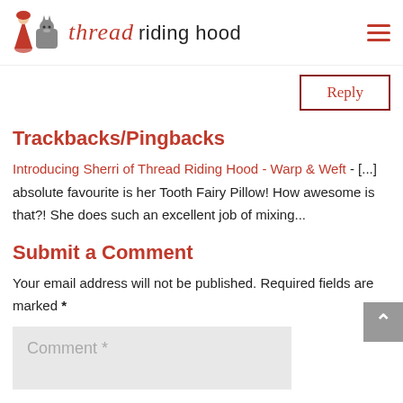thread riding hood
Reply
Trackbacks/Pingbacks
Introducing Sherri of Thread Riding Hood - Warp & Weft - [...] absolute favourite is her Tooth Fairy Pillow!  How awesome is that?!  She does such an excellent job of mixing...
Submit a Comment
Your email address will not be published. Required fields are marked *
Comment *